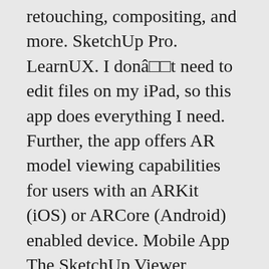retouching, compositing, and more. SketchUp Pro. LearnUX. I donâ□□t need to edit files on my iPad, so this app does everything I need. Further, the app offers AR model viewing capabilities for users with an ARKit (iOS) or ARCore (Android) enabled device. Mobile App The SketchUp Viewer Mobile apps are free to install and use (Sign In required). Comprehensive video tutorials designed to help you harness the full potential of Sketch. You have [daysLeft] days left in your trial. Who itâ□□s for: Users who want to take a look at Sketchup models and present them Letâ□□s start with the easy stuff first. Mobile devices like iPads and Android tablets don't meet our